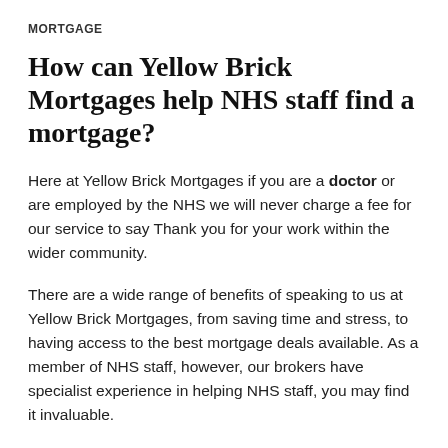MORTGAGE
How can Yellow Brick Mortgages help NHS staff find a mortgage?
Here at Yellow Brick Mortgages if you are a doctor or are employed by the NHS we will never charge a fee for our service to say Thank you for your work within the wider community.
There are a wide range of benefits of speaking to us at Yellow Brick Mortgages, from saving time and stress, to having access to the best mortgage deals available. As a member of NHS staff, however, our brokers have specialist experience in helping NHS staff, you may find it invaluable.
NHS mortgage discounts are not always readily available, so as brokers with knowledge of which